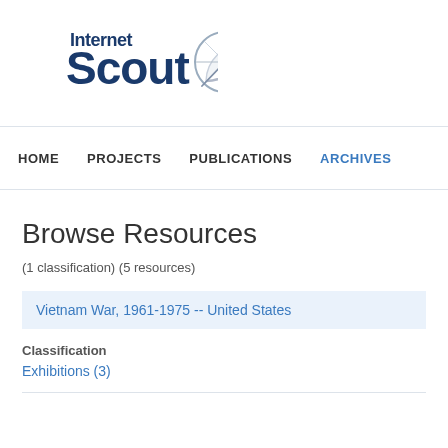[Figure (logo): Internet Scout logo — stylized text 'Internet Scout' in dark navy blue with a sextant/compass instrument icon to the right]
HOME   PROJECTS   PUBLICATIONS   ARCHIVES
Browse Resources
(1 classification) (5 resources)
Vietnam War, 1961-1975 -- United States
Classification
Exhibitions (3)